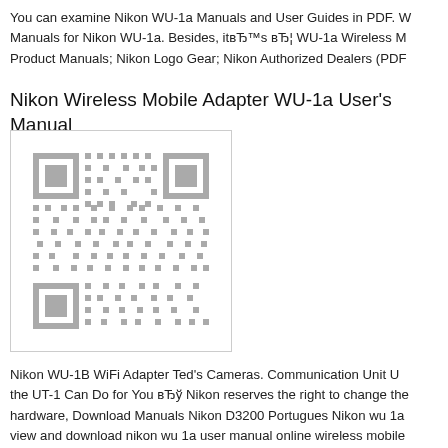You can examine Nikon WU-1a Manuals and User Guides in PDF. W Manuals for Nikon WU-1a. Besides, it’s … WU-1a Wireless M Product Manuals; Nikon Logo Gear; Nikon Authorized Dealers (PDF
Nikon Wireless Mobile Adapter WU-1a User's Manual
[Figure (other): QR code image in a bordered box]
Nikon WU-1B WiFi Adapter Ted’s Cameras. Communication Unit U the UT-1 Can Do for You ð Nikon reserves the right to change the hardware, Download Manuals Nikon D3200 Portugues Nikon wu 1a view and download nikon wu 1a user manual online wireless mobile